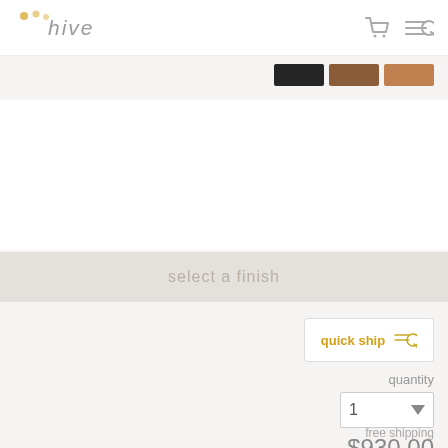hive
[Figure (screenshot): Three color swatches: black, medium brown, light brown/tan]
[Figure (illustration): A band of hexagonal mosaic tile color swatches showing many earth-tone colors including blacks, browns, tans, grays, and reds in a honeycomb pattern]
select a finish
quick ship
quantity
1
$930.00
free shipping